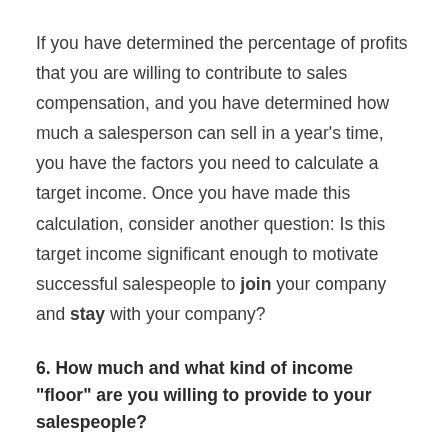If you have determined the percentage of profits that you are willing to contribute to sales compensation, and you have determined how much a salesperson can sell in a year's time, you have the factors you need to calculate a target income. Once you have made this calculation, consider another question: Is this target income significant enough to motivate successful salespeople to join your company and stay with your company?
6. How much and what kind of income "floor" are you willing to provide to your salespeople?
Now that you know the total target income for your